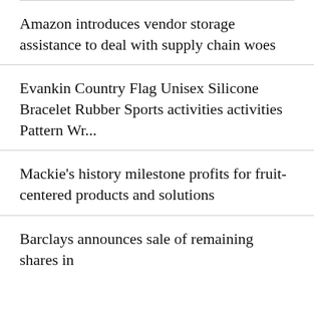Amazon introduces vendor storage assistance to deal with supply chain woes
Evankin Country Flag Unisex Silicone Bracelet Rubber Sports activities activities Pattern Wr...
Mackie's history milestone profits for fruit-centered products and solutions
Barclays announces sale of remaining shares in South Africa...
We use cookies on our website to give you the most relevant experience by remembering your preferences and repeat visits. By clicking "Accept All", you consent to the use of ALL the controlled consent.
This website stores data such as cookies to enable necessary site functionality, including analytics, targeting, and personalization. By remaining on this website you indicate your consent Cookie Policy ✕